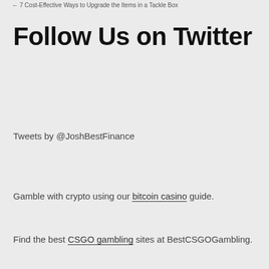7 Cost-Effective Ways to Upgrade the Items in a Tackle Box
Follow Us on Twitter
Tweets by @JoshBestFinance
Gamble with crypto using our bitcoin casino guide.
Find the best CSGO gambling sites at BestCSGOGambling.